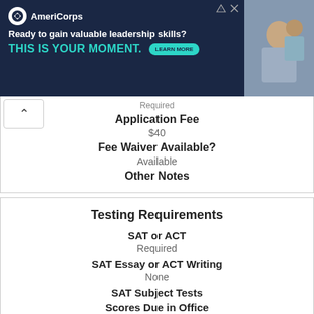[Figure (photo): AmeriCorps advertisement banner: dark navy background with AmeriCorps logo, text 'Ready to gain valuable leadership skills? THIS IS YOUR MOMENT.' with teal color headline and LEARN MORE button, photo of students on the right]
Required
Application Fee
$40
Fee Waiver Available?
Available
Other Notes
Testing Requirements
SAT or ACT
Required
SAT Essay or ACT Writing
None
SAT Subject Tests
Scores Due in Office
None
Coursework Requirements
Subject